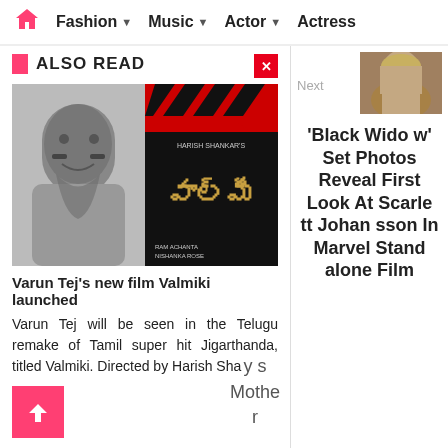Fashion ▾ Music ▾ Actor ▾ Actress
ALSO READ
[Figure (photo): Two images side by side: left is a black-and-white photo of a man (Varun Tej), right is a movie poster for Valmiki directed by Harish Shankar]
Varun Tej's new film Valmiki launched
Varun Tej will be seen in the Telugu remake of Tamil super hit Jigarthanda, titled Valmiki. Directed by Harish Sha
[Figure (photo): Thumbnail of Scarlett Johansson from Black Widow]
Next
'Black Widow' Set Photos Reveal First Look At Scarlett Johansson In Marvel Standalone Film
y s
Mothe
r